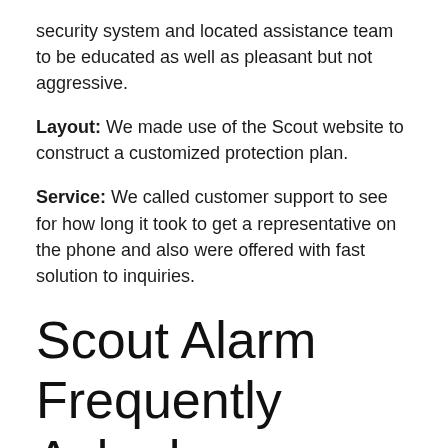security system and located assistance team to be educated as well as pleasant but not aggressive.
Layout: We made use of the Scout website to construct a customized protection plan.
Service: We called customer support to see for how long it took to get a representative on the phone and also were offered with fast solution to inquiries.
Scout Alarm Frequently Asked Questions.